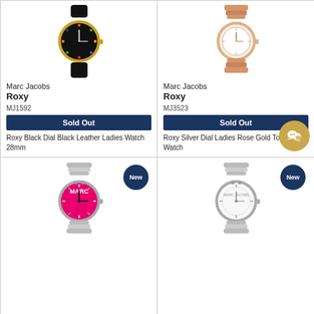[Figure (photo): Marc Jacobs Roxy watch with black dial and black leather strap, gold case]
Marc Jacobs
Roxy
MJ1592
Sold Out
Roxy Black Dial Black Leather Ladies Watch 28mm
¥13,900 (tax incl.)
[Figure (photo): Marc Jacobs Roxy watch with silver/white dial and rose gold tone bracelet]
Marc Jacobs
Roxy
MJ3523
Sold Out
Roxy Silver Dial Ladies Rose Gold Tone Watch
¥15,900 (tax incl.)
[Figure (photo): Marc Jacobs watch with bright pink/magenta dial and silver bracelet, New badge]
[Figure (photo): Marc Jacobs Roxy watch with white dial and silver bracelet, New badge]